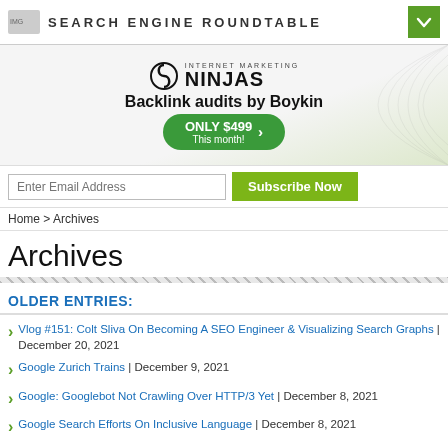SEARCH ENGINE ROUNDTABLE
[Figure (illustration): Internet Marketing Ninjas ad banner: logo with swirl, 'Backlink audits by Boykin', 'ONLY $499 This month!' green button]
Enter Email Address | Subscribe Now
Home > Archives
Archives
OLDER ENTRIES:
Vlog #151: Colt Sliva On Becoming A SEO Engineer & Visualizing Search Graphs | December 20, 2021
Google Zurich Trains | December 9, 2021
Google: Googlebot Not Crawling Over HTTP/3 Yet | December 8, 2021
Google Search Efforts On Inclusive Language | December 8, 2021